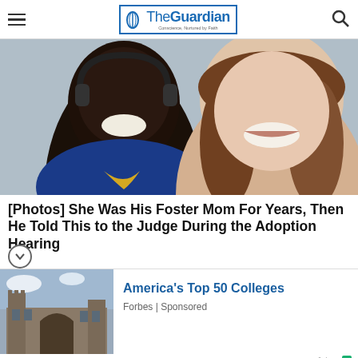The Guardian — Conscience, Nurtured by Faith
[Figure (photo): Selfie photo of a young Black boy wearing headphones in a blue and yellow sports jacket, smiling, next to a white woman with long brown hair, also smiling, taken inside a car]
[Photos] She Was His Foster Mom For Years, Then He Told This to the Judge During the Adoption Hearing
[Figure (photo): Photo of a large stone college building with gothic architecture, showing arched entrance and towers against a partly cloudy sky]
America's Top 50 Colleges
Forbes | Sponsored
Jubna